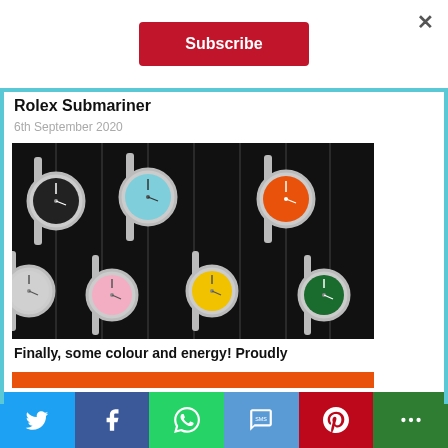Subscribe
Rolex Submariner
6th September 2020
[Figure (photo): Seven Rolex Oyster Perpetual watches with different coloured dials (black, turquoise/blue, orange, silver, pink, yellow, green) displayed on a black background with vertical lines]
Finally, some colour and energy! Proudly
Social sharing bar: Twitter, Facebook, WhatsApp, SMS, Pinterest, More